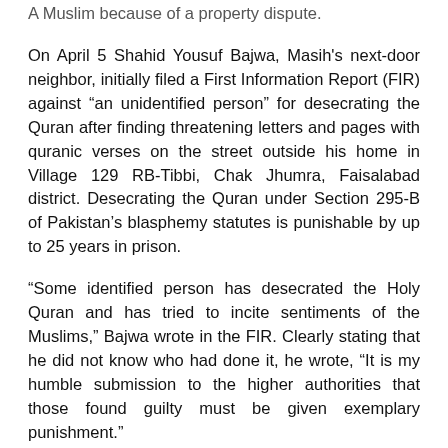A Muslim because of a property dispute.
On April 5 Shahid Yousuf Bajwa, Masih's next-door neighbor, initially filed a First Information Report (FIR) against “an unidentified person” for desecrating the Quran after finding threatening letters and pages with quranic verses on the street outside his home in Village 129 RB-Tibbi, Chak Jhumra, Faisalabad district. Desecrating the Quran under Section 295-B of Pakistan’s blasphemy statutes is punishable by up to 25 years in prison.
“Some identified person has desecrated the Holy Quran and has tried to incite sentiments of the Muslims,” Bajwa wrote in the FIR. Clearly stating that he did not know who had done it, he wrote, “It is my humble submission to the higher authorities that those found guilty must be given exemplary punishment.”